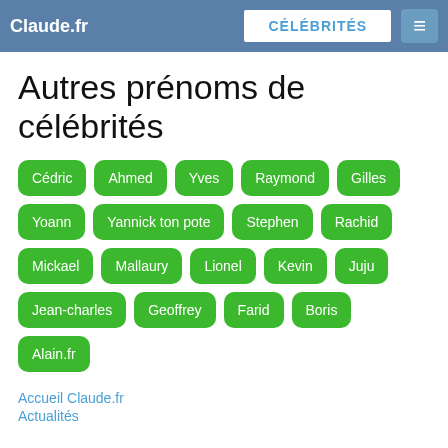Claude.fr | CÉLÉBRITÉS
Autres prénoms de célébrités
Cédric
Ahmed
Yves
Raymond
Gilles
Yoann
Yannick ton pote
Stephen
Rachid
Mickael
Mallaury
Lionel
Kevin
Juju
Jean-charles
Geoffrey
Farid
Boris
Alain.fr
Accueil Claude.fr
Actualités